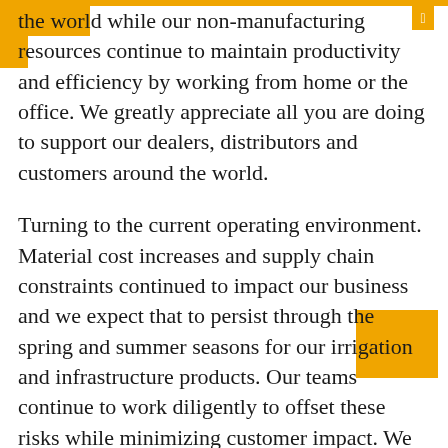the world while our non-manufacturing resources continue to maintain productivity and efficiency by working from home or the office. We greatly appreciate all you are doing to support our dealers, distributors and customers around the world.
Turning to the current operating environment. Material cost increases and supply chain constraints continued to impact our business and we expect that to persist through the spring and summer seasons for our irrigation and infrastructure products. Our teams continue to work diligently to offset these risks while minimizing customer impact. We have been able to leverage our sourcing talent and global footprint to take advantage of the strong market demand and continue to pass-through cost increases and see a rational pricing environment in the market.